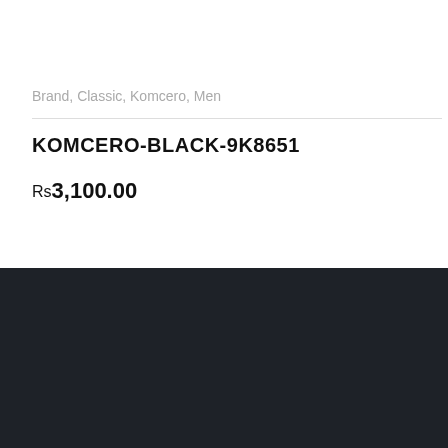Brand, Classic, Komcero, Men
KOMCERO-BLACK-9K8651
Rs3,100.00
[Figure (logo): Alla Moda Shoes brand logo in red italic script on dark background]
Need Help? Chat with us